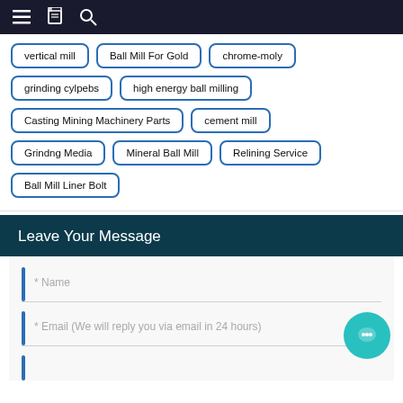Navigation bar with menu, document, and search icons
vertical mill
Ball Mill For Gold
chrome-moly
grinding cylpebs
high energy ball milling
Casting Mining Machinery Parts
cement mill
Grindng Media
Mineral Ball Mill
Relining Service
Ball Mill Liner Bolt
Leave Your Message
* Name
* Email (We will reply you via email in 24 hours)